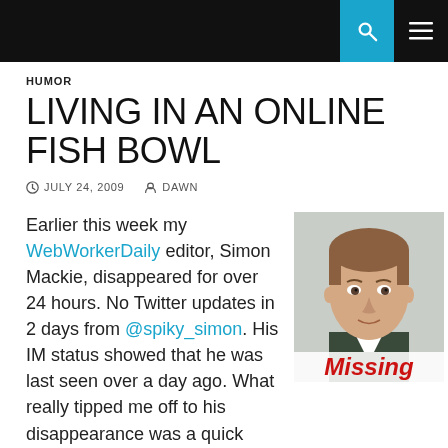Navigation bar with search and menu icons
HUMOR
LIVING IN AN ONLINE FISH BOWL
JULY 24, 2009  DAWN
Earlier this week my WebWorkerDaily editor, Simon Mackie, disappeared for over 24 hours. No Twitter updates in 2 days from @spiky_simon. His IM status showed that he was last seen over a day ago. What really tipped me off to his disappearance was a quick glance at the WebWorkerDaily post
[Figure (photo): Headshot of a man with short hair against a light background, with a red 'Missing' label overlaid at the bottom]